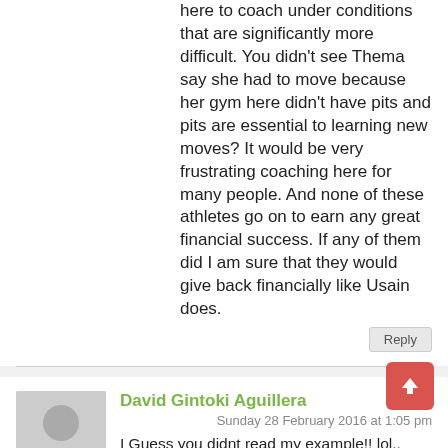here to coach under conditions that are significantly more difficult. You didn't see Thema say she had to move because her gym here didn't have pits and pits are essential to learning new moves? It would be very frustrating coaching here for many people. And none of these athletes go on to earn any great financial success. If any of them did I am sure that they would give back financially like Usain does.
Reply
David Gintoki Aguillera
Sunday 28 February 2016 at 1:05 pm
I Guess you didnt read my example!! lol.. where is Ato Boldon Coaching or Training Center!!??
Reply
David Gintoki Aguillera
Sunday 28 February 2016 at 1:07 pm
No one said they had to Uproot To Trinidad, or Tobago, but show your so